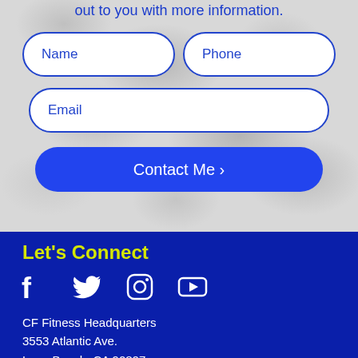out to you with more information.
[Figure (screenshot): Contact form with Name, Phone, Email input fields and Contact Me button on a camouflage background]
Let's Connect
[Figure (infographic): Social media icons: Facebook, Twitter, Instagram, YouTube]
CF Fitness Headquarters
3553 Atlantic Ave.
Long Beach, CA 90807
james@thecffitness.com